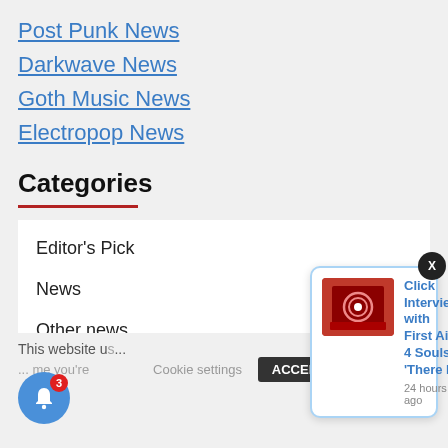Post Punk News
Darkwave News
Goth Music News
Electropop News
Categories
Editor's Pick
News
Other news
This website u... me you're...
[Figure (screenshot): Notification popup with First Aid 4 Souls album art and text: Click Interview with First Aid 4 Souls: 'There Is, 24 hours ago]
[Figure (other): Blue bell notification button with red badge showing 3]